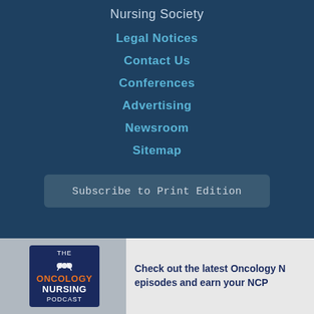Nursing Society
Legal Notices
Contact Us
Conferences
Advertising
Newsroom
Sitemap
Subscribe to Print Edition
[Figure (logo): The Oncology Nursing Podcast logo on a mobile phone screen]
Check out the latest Oncology N... episodes and earn your NCP...